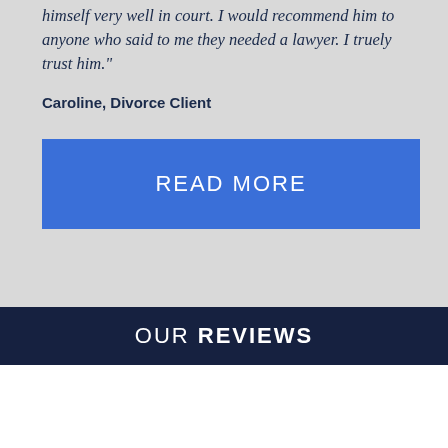himself very well in court. I would recommend him to anyone who said to me they needed a lawyer. I truely trust him."
Caroline, Divorce Client
READ MORE
OUR REVIEWS